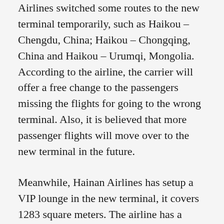Airlines switched some routes to the new terminal temporarily, such as Haikou – Chengdu, China; Haikou – Chongqing, China and Haikou – Urumqi, Mongolia. According to the airline, the carrier will offer a free change to the passengers missing the flights for going to the wrong terminal. Also, it is believed that more passenger flights will move over to the new terminal in the future.
Meanwhile, Hainan Airlines has setup a VIP lounge in the new terminal, it covers 1283 square meters. The airline has a nearly 22% market share within the entire Hainan province and 27% in Haikou.
The Airport's Tibet Service